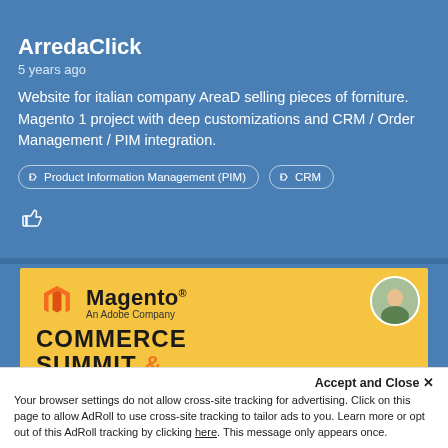[Figure (screenshot): Top cropped banner image of a portfolio/project listing website]
ArredaClick
5 years ago
Website for italian company AreaD selling pieces of forniture. Magento 1 project with deep customizations and CRM / Order Management / PIM integration.
Product Information Management (PIM)
CRM
[Figure (screenshot): Magento Commerce Summit & Omnichannel banner, 27 SEP 2018, BOGOTÁ, on yellow background with Magento logo and person avatar]
Accept and Close ✕
Your browser settings do not allow cross-site tracking for advertising. Click on this page to allow AdRoll to use cross-site tracking to tailor ads to you. Learn more or opt out of this AdRoll tracking by clicking here. This message only appears once.